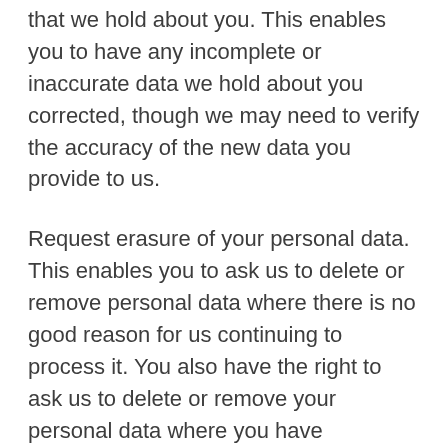that we hold about you. This enables you to have any incomplete or inaccurate data we hold about you corrected, though we may need to verify the accuracy of the new data you provide to us.
Request erasure of your personal data. This enables you to ask us to delete or remove personal data where there is no good reason for us continuing to process it. You also have the right to ask us to delete or remove your personal data where you have successfully exercised your right to object to processing (see below), where we may have processed your information unlawfully or where we are required to erase your personal data to comply with local law. Note, however, that we may not